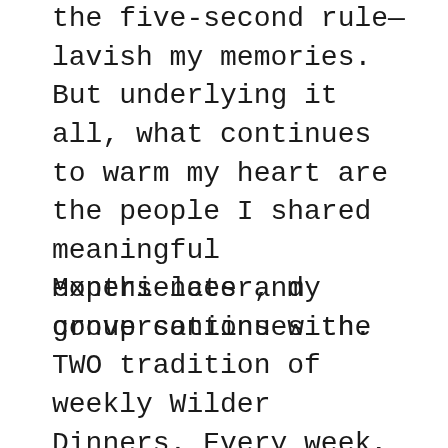the five-second rule— lavish my memories. But underlying it all, what continues to warm my heart are the people I shared meaningful experiences and conversations with.
Months later, my group continues the TWO tradition of weekly Wilder Dinners. Every week, I look forward to these mini Sunday get-togethers that ground me to a